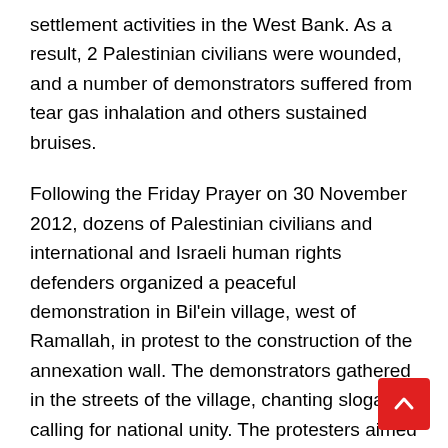settlement activities in the West Bank. As a result, 2 Palestinian civilians were wounded, and a number of demonstrators suffered from tear gas inhalation and others sustained bruises.
Following the Friday Prayer on 30 November 2012, dozens of Palestinian civilians and international and Israeli human rights defenders organized a peaceful demonstration in Bil'ein village, west of Ramallah, in protest to the construction of the annexation wall. The demonstrators gathered in the streets of the village, chanting slogans calling for national unity. The protesters aimed to stress the need to adhere to national principles and the right of return, to resist the occupation and to call for